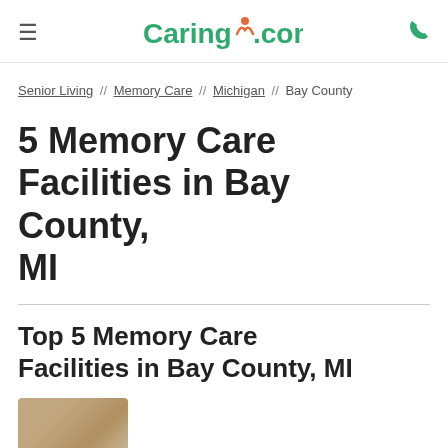≡  Caring.com  📞
Senior Living // Memory Care // Michigan // Bay County
5 Memory Care Facilities in Bay County, MI
Top 5 Memory Care Facilities in Bay County, MI
[Figure (photo): Thumbnail image of a memory care facility building exterior]